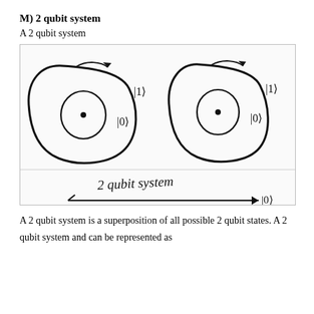M) 2 qubit system
A 2 qubit system
[Figure (illustration): Hand-drawn diagram of a 2 qubit system showing two concentric circle pairs (each representing a qubit) labeled with |0⟩ and |1⟩ states, and a horizontal arrow labeled '2 qubit system' pointing to |0⟩]
A 2 qubit system is a superposition of all possible 2 qubit states. A 2 qubit system and can be represented as